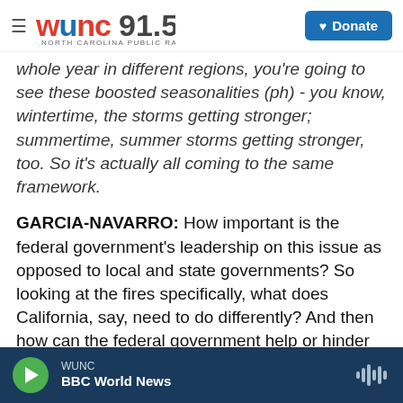WUNC 91.5 North Carolina Public Radio | Donate
whole year in different regions, you're going to see these boosted seasonalities (ph) - you know, wintertime, the storms getting stronger; summertime, summer storms getting stronger, too. So it's actually all coming to the same framework.
GARCIA-NAVARRO: How important is the federal government's leadership on this issue as opposed to local and state governments? So looking at the fires specifically, what does California, say, need to do differently? And then how can the federal government help or hinder their response?
WANG: It's a much broader issue than really a
WUNC | BBC World News